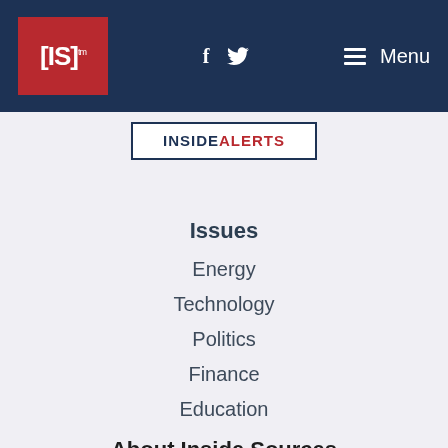[IS]™ | f | 🐦 | Menu
INSIDEALERTS
Issues
Energy
Technology
Politics
Finance
Education
About Inside Sources
Support InsideSources
About InsideSources
Careers
Advertising
Submit An Op-Ed
Join Our Syndication Network